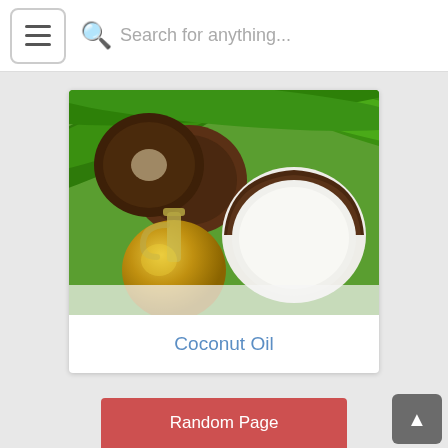Search for anything...
[Figure (photo): Coconut oil in a round glass bottle with coconuts and palm leaves in the background]
Coconut Oil
Random Page